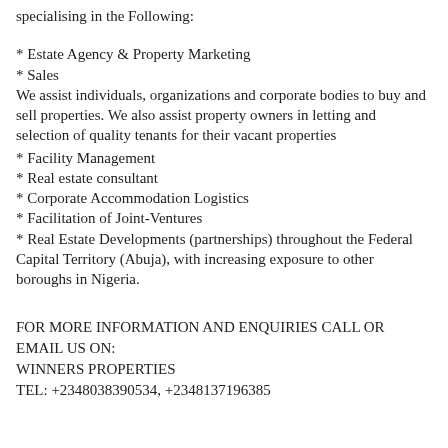specialising in the Following:
* Estate Agency & Property Marketing
* Sales
We assist individuals, organizations and corporate bodies to buy and sell properties. We also assist property owners in letting and selection of quality tenants for their vacant properties
* Facility Management
* Real estate consultant
* Corporate Accommodation Logistics
* Facilitation of Joint-Ventures
* Real Estate Developments (partnerships) throughout the Federal Capital Territory (Abuja), with increasing exposure to other boroughs in Nigeria.
FOR MORE INFORMATION AND ENQUIRIES CALL OR EMAIL US ON:
WINNERS PROPERTIES
TEL: +2348038390534, +2348137196385